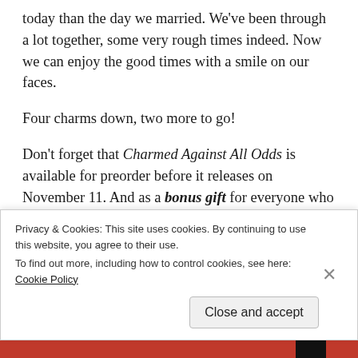today than the day we married. We've been through a lot together, some very rough times indeed. Now we can enjoy the good times with a smile on our faces.
Four charms down, two more to go!
Don't forget that Charmed Against All Odds is available for preorder before it releases on November 11. And as a bonus gift for everyone who preorders Charmed Against All Odds, I'll give a free ebook copy of Book 1, Undying Love! Simply share a picture or screenshot of your order with me on my Facebook page (www.Facebook.com/AuthorBettyBolte) and I'll send you a
Privacy & Cookies: This site uses cookies. By continuing to use this website, you agree to their use.
To find out more, including how to control cookies, see here: Cookie Policy
Close and accept